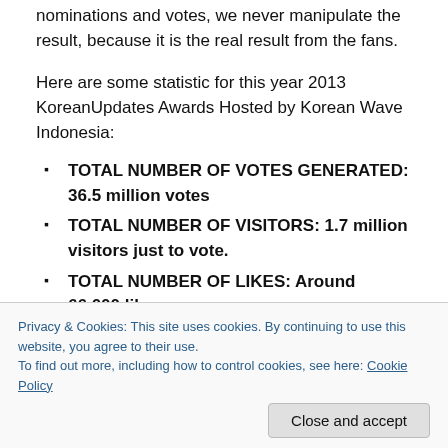nominations and votes, we never manipulate the result, because it is the real result from the fans.
Here are some statistic for this year 2013 KoreanUpdates Awards Hosted by Korean Wave Indonesia:
TOTAL NUMBER OF VOTES GENERATED: 36.5 million votes
TOTAL NUMBER OF VISITORS: 1.7 million visitors just to vote.
TOTAL NUMBER OF LIKES: Around 66,000 likes
TOTAL NUMBER OF SHARES: Around 22,500 twitter
Privacy & Cookies: This site uses cookies. By continuing to use this website, you agree to their use.
To find out more, including how to control cookies, see here: Cookie Policy
BEST GIRL GROUP 2013 – T-ARA